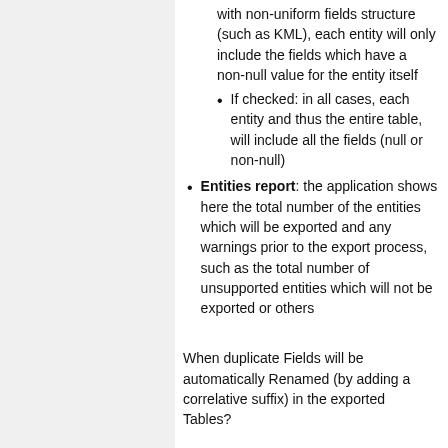with non-uniform fields structure (such as KML), each entity will only include the fields which have a non-null value for the entity itself
If checked: in all cases, each entity and thus the entire table, will include all the fields (null or non-null)
Entities report: the application shows here the total number of the entities which will be exported and any warnings prior to the export process, such as the total number of unsupported entities which will not be exported or others
When duplicate Fields will be automatically Renamed (by adding a correlative suffix) in the exported Tables?